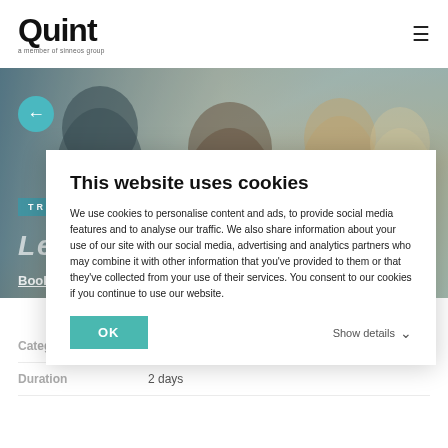Quint — a member of sinneos group
[Figure (photo): Hero image showing diverse group of smiling people, appears to be a training/workshop setting]
TRAINING
Leading SAFe®
Book now!
Home / Academy / Leading SAFe®
This website uses cookies
We use cookies to personalise content and ads, to provide social media features and to analyse our traffic. We also share information about your use of our site with our social media, advertising and analytics partners who may combine it with other information that you've provided to them or that they've collected from your use of their services. You consent to our cookies if you continue to use our website.
OK
Show details
Category
SAFe® (Scaled Agile Framework)
Duration
2 days